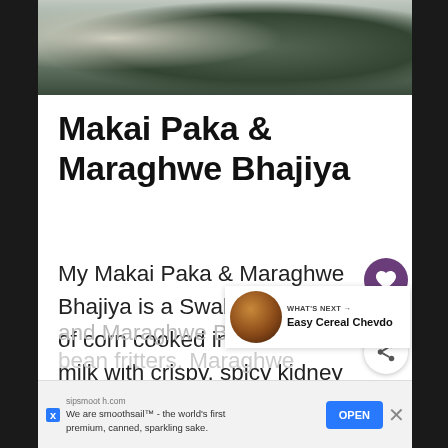[Figure (photo): Food photograph at the top of a recipe page, partially visible, showing a bowl or plate with food items on a dark background]
Makai Paka & Maraghwe Bhajiya
My Makai Paka & Maraghwe Bhajiya is a Swahili-style dish of corn cooked in coconut milk with crispy, spicy kidney bean fritters on top. Makai Paka is the corn side and Maraghwe Bhajiya are the bean fritters. Maraghwe Bhajiya...
[Figure (other): WHAT'S NEXT banner with thumbnail of Easy Cereal Chevdo dish]
sipsmooth.com We are smoothsail™ - the world's first premium, canned, sparkling sake.